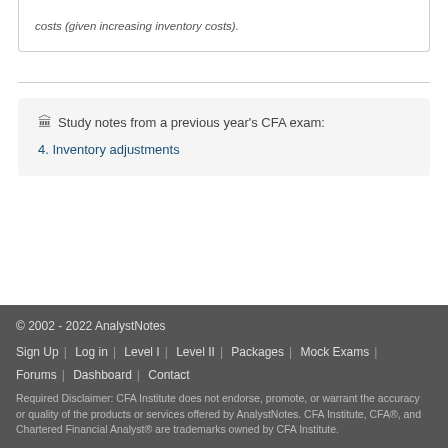costs (given increasing inventory costs).
🏛 Study notes from a previous year's CFA exam:
4. Inventory adjustments
© 2002 - 2022 AnalystNotes
Sign Up | Log in | Level I | Level II | Packages | Mock Exams | Forums | Dashboard | Contact
Required Disclaimer: CFA Institute does not endorse, promote, or warrant the accuracy or quality of the products or services offered by AnalystNotes. CFA Institute, CFA®, and Chartered Financial Analyst® are trademarks owned by CFA Institute.